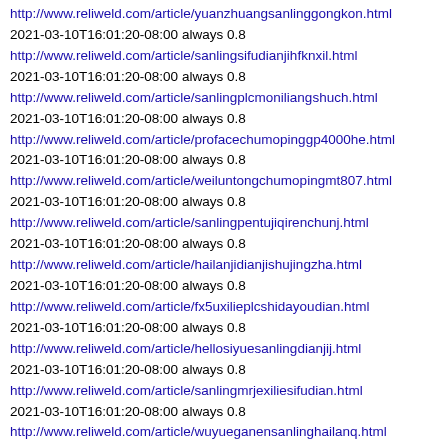http://www.reliweld.com/article/yuanzhuangsanlinggongkon.html
2021-03-10T16:01:20-08:00 always 0.8
http://www.reliweld.com/article/sanlingsifudianjihfknxil.html
2021-03-10T16:01:20-08:00 always 0.8
http://www.reliweld.com/article/sanlingplcmoniliangshuch.html
2021-03-10T16:01:20-08:00 always 0.8
http://www.reliweld.com/article/profacechumopinggp4000he.html
2021-03-10T16:01:20-08:00 always 0.8
http://www.reliweld.com/article/weiluntongchumopingmt807.html
2021-03-10T16:01:20-08:00 always 0.8
http://www.reliweld.com/article/sanlingpentujiqirenchunj.html
2021-03-10T16:01:20-08:00 always 0.8
http://www.reliweld.com/article/hailanjidianjishujingzha.html
2021-03-10T16:01:20-08:00 always 0.8
http://www.reliweld.com/article/fx5uxilieplcshidayoudian.html
2021-03-10T16:01:20-08:00 always 0.8
http://www.reliweld.com/article/hellosiyuesanlingdianjij.html
2021-03-10T16:01:20-08:00 always 0.8
http://www.reliweld.com/article/sanlingmrjexiliesifudian.html
2021-03-10T16:01:20-08:00 always 0.8
http://www.reliweld.com/article/wuyueganensanlinghailanq.html
2021-03-10T16:01:20-08:00 always 0.8
http://www.reliweld.com/article/hailanjidianjingyiqiujin.html
2021-03-10T16:01:20-08:00 always 0.8
http://www.reliweld.com/article/jianglingqicheabslunjian.html